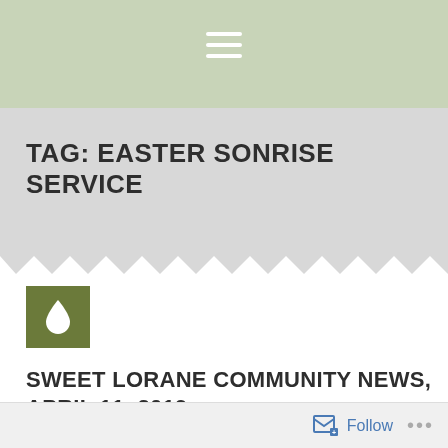[Figure (other): Green header bar with white hamburger menu icon (three horizontal lines)]
TAG: EASTER SONRISE SERVICE
[Figure (other): Olive green square icon box with white water drop symbol]
SWEET LORANE COMMUNITY NEWS, APRIL 11, 2019
April 11, 2019
Newspaper Columns
Follow ...